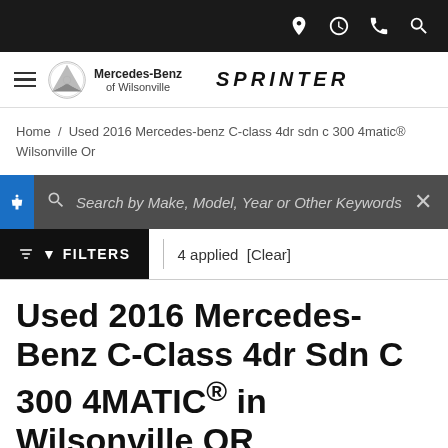Mercedes-Benz of Wilsonville — SPRINTER (navigation bar with icons)
Home / Used 2016 Mercedes-benz C-class 4dr sdn c 300 4matic® Wilsonville Or
Search by Make, Model, Year or Other Keywords
FILTERS | 4 applied [Clear]
Used 2016 Mercedes-Benz C-Class 4dr Sdn C 300 4MATIC® in Wilsonville OR
3 Results